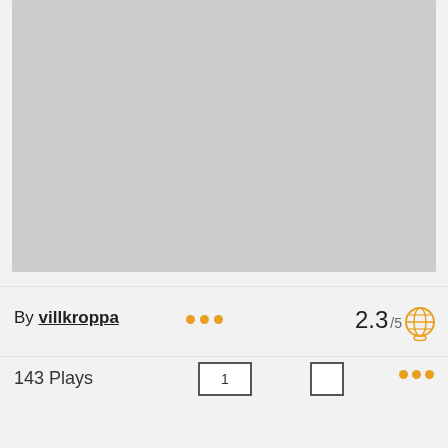[Figure (photo): Large gray placeholder image area at top of page]
By villkroppa • • •   2.3 /5
143 Plays